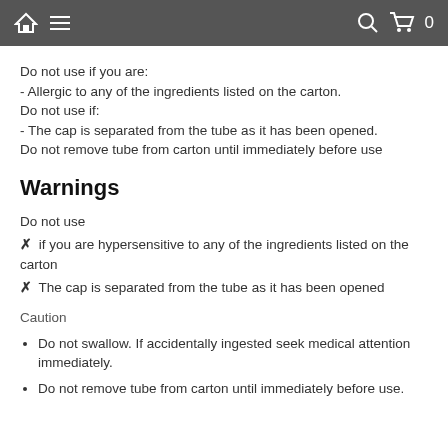Home | Menu | Search | Cart 0
Do not use if you are:
- Allergic to any of the ingredients listed on the carton.
Do not use if:
- The cap is separated from the tube as it has been opened.
Do not remove tube from carton until immediately before use
Warnings
Do not use
✗ if you are hypersensitive to any of the ingredients listed on the carton
✗ The cap is separated from the tube as it has been opened
Caution
Do not swallow. If accidentally ingested seek medical attention immediately.
Do not remove tube from carton until immediately before use.